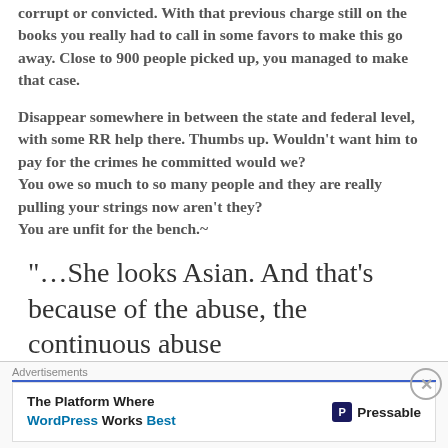corrupt or convicted. With that previous charge still on the books you really had to call in some favors to make this go away. Close to 900 people picked up, you managed to make that case.
Disappear somewhere in between the state and federal level, with some RR help there. Thumbs up. Wouldn’t want him to pay for the crimes he committed would we?
You owe so much to so many people and they are really pulling your strings now aren’t they?
You are unfit for the bench.~
“…She looks Asian. And that’s because of the abuse, the continuous abuse
[Figure (other): Advertisement banner: 'The Platform Where WordPress Works Best' with Pressable logo and close button]